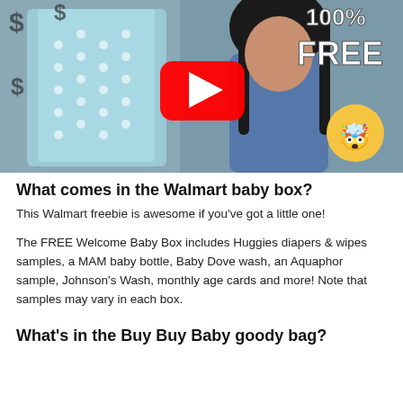[Figure (screenshot): YouTube video thumbnail showing a young woman with long dark hair wearing a blue sweater, sitting next to a light blue polka-dot gift bag. Dollar signs appear in top left. Text '100% FREE' in white bold letters top right. YouTube play button (red with white triangle) in center. An exploding head emoji in lower right corner. Background appears to be a bedroom/studio setting.]
What comes in the Walmart baby box?
This Walmart freebie is awesome if you've got a little one!
The FREE Welcome Baby Box includes Huggies diapers & wipes samples, a MAM baby bottle, Baby Dove wash, an Aquaphor sample, Johnson's Wash, monthly age cards and more! Note that samples may vary in each box.
What's in the Buy Buy Baby goody bag?